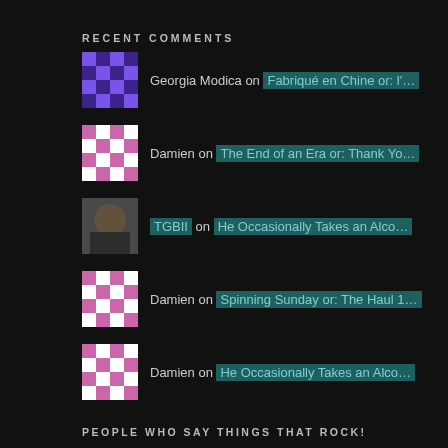RECENT COMMENTS
Georgia Modica on Fabriqué en Chine or: l'…
Damien on The End of an Era or: Thank Yo…
TGBII on He Occasionally Takes an Alco…
Damien on Spinning Sunday or: The Haul 1…
Damien on He Occasionally Takes an Alco…
PEOPLE WHO SAY THINGS THAT ROCK!
[Figure (illustration): Useless logo illustration]
[Figure (illustration): Microphone with raised fists illustration on dark teal background]